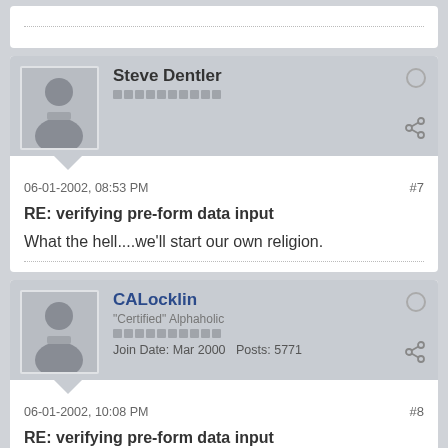[Figure (screenshot): Partial top of a forum post card showing a dotted divider line]
Steve Dentler
06-01-2002, 08:53 PM  #7
RE: verifying pre-form data input
What the hell....we'll start our own religion.
CALocklin
"Certified" Alphaholic
Join Date: Mar 2000  Posts: 5771
06-01-2002, 10:08 PM  #8
RE: verifying pre-form data input